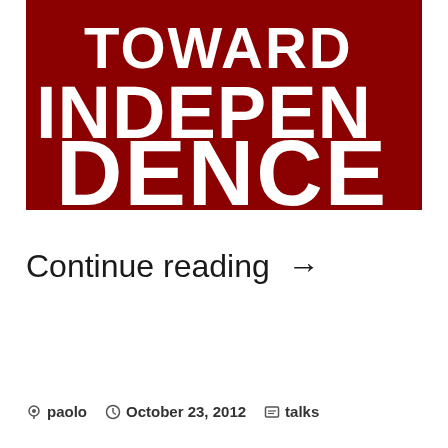[Figure (illustration): Dark red background with large white bold text reading 'TOWARD INDEPENDENCE' in a poster/book cover style]
Continue reading →
paolo  October 23, 2012  talks